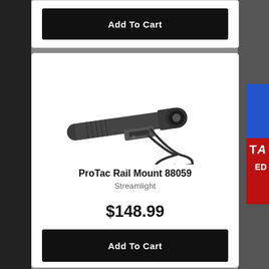[Figure (other): Add To Cart button at top of page (partial product card from previous listing)]
[Figure (photo): Streamlight ProTac Rail Mount 88059 tactical flashlight with remote pressure switch cable, dark gray/black finish, on white background]
ProTac Rail Mount 88059
Streamlight
$148.99
[Figure (other): Add To Cart button for ProTac Rail Mount 88059]